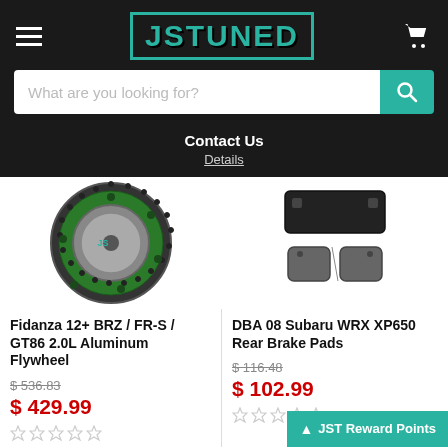[Figure (logo): JSTUNED logo in teal border on dark background]
What are you looking for?
Contact Us
Details
[Figure (photo): Fidanza aluminum flywheel - circular green and silver flywheel with gear teeth]
Fidanza 12+ BRZ / FR-S / GT86 2.0L Aluminum Flywheel
$ 536.83
$ 429.99
[Figure (photo): DBA rear brake pads - grey brake pad set]
DBA 08 Subaru WRX XP650 Rear Brake Pads
$ 116.48
$ 102.99
JST Reward Points